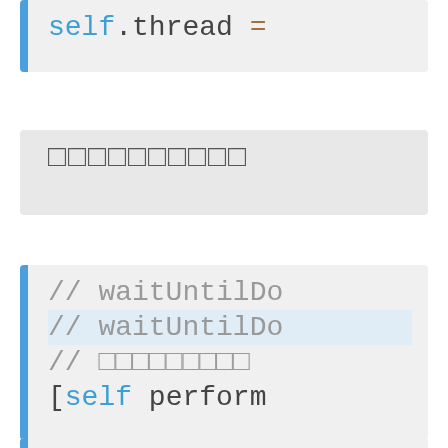[Figure (screenshot): Code block showing 'self.thread =' with blue left border on light gray background]
[Figure (screenshot): Gray block with placeholder/redacted text (square characters)]
[Figure (screenshot): Code block with blue left border showing commented lines '// waitUntilDo...', '// waitUntilDo...', '// [redacted]', and '[self perform...' lines]